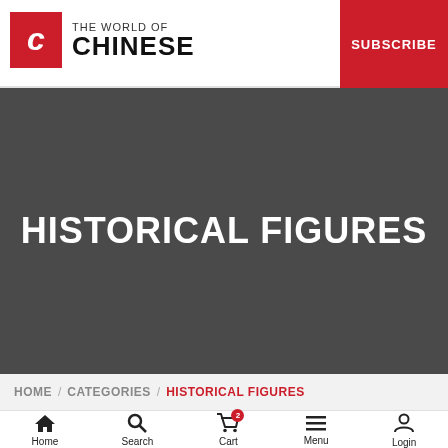THE WORLD OF CHINESE
[Figure (screenshot): Hero banner with dark grey background showing the text HISTORICAL FIGURES in large white bold uppercase letters]
HISTORICAL FIGURES
HOME / CATEGORIES / HISTORICAL FIGURES
Home | Search | Cart | Menu | Login